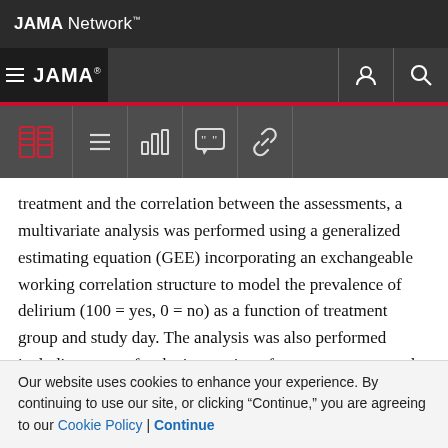JAMA Network
JAMA
treatment and the correlation between the assessments, a multivariate analysis was performed using a generalized estimating equation (GEE) incorporating an exchangeable working correlation structure to model the prevalence of delirium (100 = yes, 0 = no) as a function of treatment group and study day. The analysis was also performed including a term for the interaction of treatment group and study day. The interaction term would be included in the final model if P < .15. Results from the GEE analysis
Our website uses cookies to enhance your experience. By continuing to use our site, or clicking "Continue," you are agreeing to our Cookie Policy | Continue